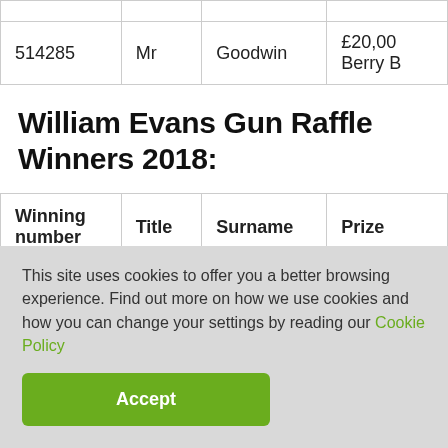| Winning number | Title | Surname | Prize |
| --- | --- | --- | --- |
| 514285 | Mr | Goodwin | £20,00 Berry B |
William Evans Gun Raffle Winners 2018:
| Winning number | Title | Surname | Prize |
| --- | --- | --- | --- |
This site uses cookies to offer you a better browsing experience. Find out more on how we use cookies and how you can change your settings by reading our Cookie Policy